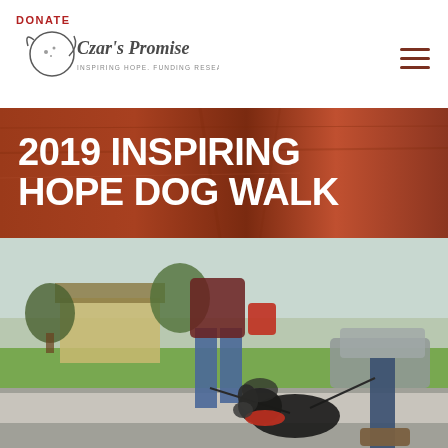DONATE
[Figure (logo): Czar's Promise logo with dog silhouette and text 'Inspiring Hope. Funding Research.']
2019 INSPIRING HOPE DOG WALK
[Figure (photo): People walking a small black dog with a red bandana on a sidewalk, suburban neighborhood background with trees, houses, and cars]